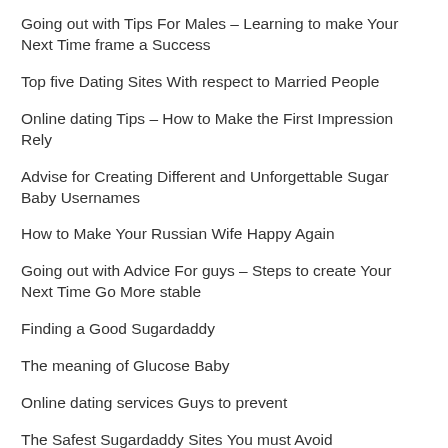Going out with Tips For Males – Learning to make Your Next Time frame a Success
Top five Dating Sites With respect to Married People
Online dating Tips – How to Make the First Impression Rely
Advise for Creating Different and Unforgettable Sugar Baby Usernames
How to Make Your Russian Wife Happy Again
Going out with Advice For guys – Steps to create Your Next Time Go More stable
Finding a Good Sugardaddy
The meaning of Glucose Baby
Online dating services Guys to prevent
The Safest Sugardaddy Sites You must Avoid